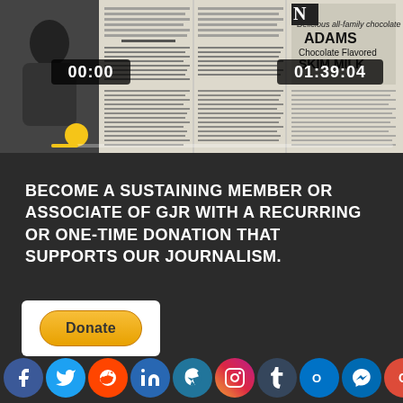[Figure (screenshot): Video player showing newspaper collage with two timestamp overlays: 00:00 on left and 01:39:04 on right, a yellow progress dot, and a yellow progress bar at bottom. The newspaper shows a portrait photo and text columns referencing an article by Dickson Terry about a magazine, and an Adams Chocolate Flavored Skim Milk advertisement.]
BECOME A SUSTAINING MEMBER OR ASSOCIATE OF GJR WITH A RECURRING OR ONE-TIME DONATION THAT SUPPORTS OUR JOURNALISM.
[Figure (other): Donate button with PayPal styling — golden yellow rounded rectangle with the text 'Donate' in dark letters, inside a white rounded rectangle box.]
[Figure (other): Row of social media icons: Facebook, Twitter, Reddit, LinkedIn, WordPress, Instagram, Tumblr, Outlook, Messenger, Google, Share]